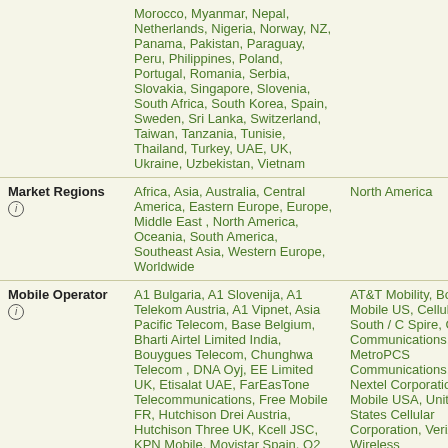|  | Column 1 | Column 2 |
| --- | --- | --- |
|  | Morocco, Myanmar, Nepal, Netherlands, Nigeria, Norway, NZ, Panama, Pakistan, Paraguay, Peru, Philippines, Poland, Portugal, Romania, Serbia, Slovakia, Singapore, Slovenia, South Africa, South Korea, Spain, Sweden, Sri Lanka, Switzerland, Taiwan, Tanzania, Tunisie, Thailand, Turkey, UAE, UK, Ukraine, Uzbekistan, Vietnam |  |
| Market Regions ⓘ | Africa, Asia, Australia, Central America, Eastern Europe, Europe, Middle East , North America, Oceania, South America, Southeast Asia, Western Europe, Worldwide | North America |
| Mobile Operator ⓘ | A1 Bulgaria, A1 Slovenija, A1 Telekom Austria, A1 Vipnet, Asia Pacific Telecom, Base Belgium, Bharti Airtel Limited India, Bouygues Telecom, Chunghwa Telecom , DNA Oyj, EE Limited UK, Etisalat UAE, FarEasTone Telecommunications, Free Mobile FR, Hutchison Drei Austria, Hutchison Three UK, Kcell JSC, KPN Mobile, Movistar Spain, O2 Czech Republic, O2 Germany, O2... | AT&T Mobility, Boost Mobile US, Cellular South / C Spire, Cricket Communications, MetroPCS Communications, Sprint Nextel Corporation, T-Mobile USA, United States Cellular Corporation, Verizon Wireless |